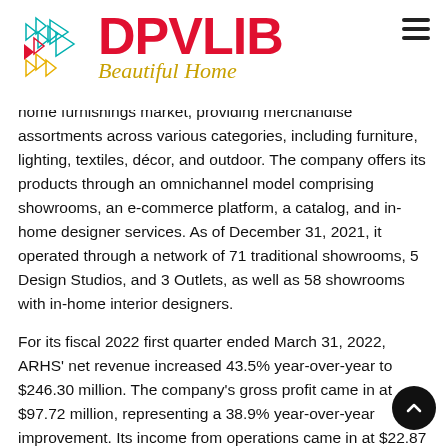[Figure (logo): DPVLIB Beautiful Home logo with geometric arrow/triangle icon in teal, red, and yellow]
home furnishings market, providing merchandise assortments across various categories, including furniture, lighting, textiles, décor, and outdoor. The company offers its products through an omnichannel model comprising showrooms, an e-commerce platform, a catalog, and in-home designer services. As of December 31, 2021, it operated through a network of 71 traditional showrooms, 5 Design Studios, and 3 Outlets, as well as 58 showrooms with in-home interior designers.
For its fiscal 2022 first quarter ended March 31, 2022, ARHS' net revenue increased 43.5% year-over-year to $246.30 million. The company's gross profit came in at $97.72 million, representing a 38.9% year-over-year improvement. Its income from operations came in at $22.87 million for the quarter, indicating a 102.7% rise from the prior-year period. As of March 31, 2022, the company had $148.84 million in cash and cash equivalents